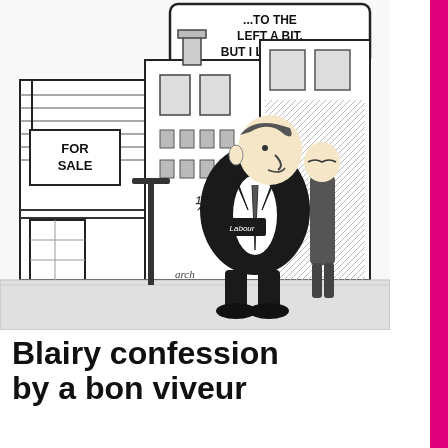[Figure (illustration): A black and white cartoon illustration showing a large rotund man in a dark suit with 'Labour' written on his sleeve, standing on a street in front of a building with a 'FOR SALE' sign. He is looking at the building with a speech bubble visible at the top reading '...TO THE LEFT A BIT, BUT I LIKE THAT.' A second thinner man stands behind him. The cartoon is signed by the artist (signature at bottom). The scene is a political cartoon.]
Blairy confession by a bon viveur